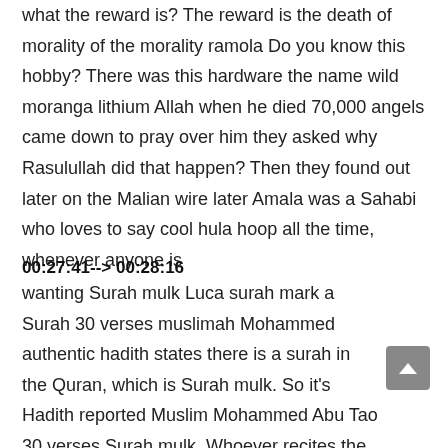what the reward is? The reward is the death of morality of the morality ramola Do you know this hobby? There was this hardware the name wild moranga lithium Allah when he died 70,000 angels came down to pray over him they asked why Rasulullah did that happen? Then they found out later on the Malian wire later Amala was a Sahabi who loves to say cool hula hoop all the time, whenever anyone is
00:27:41--> 00:28:16
wanting Surah mulk Luca surah mark a Surah 30 verses muslimah Mohammed authentic hadith states there is a surah in the Quran, which is Surah mulk. So it's Hadith reported Muslim Mohammed Abu Tao 30 verses Surah mulk. Whoever recites the surah will argue with Allah subhanho wa Taala under the throne of Allah to forgive you